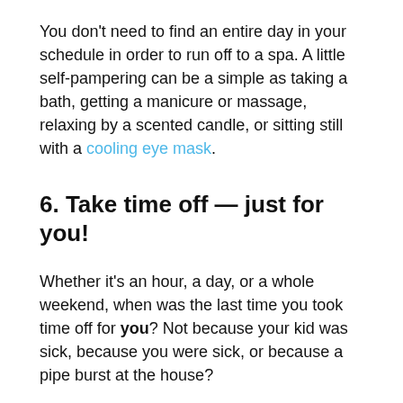You don't need to find an entire day in your schedule in order to run off to a spa. A little self-pampering can be a simple as taking a bath, getting a manicure or massage, relaxing by a scented candle, or sitting still with a cooling eye mask.
6. Take time off — just for you!
Whether it's an hour, a day, or a whole weekend, when was the last time you took time off for you? Not because your kid was sick, because you were sick, or because a pipe burst at the house?
Give it a try! Schedule some personal time and stick to it! Use your newfound